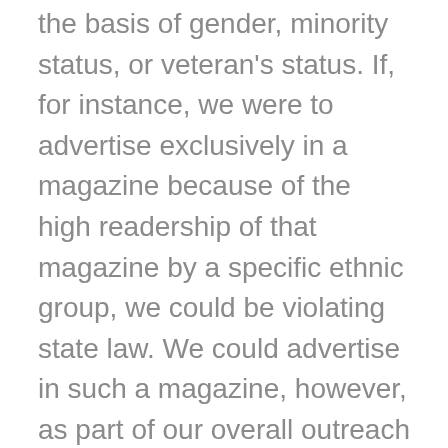the basis of gender, minority status, or veteran's status. If, for instance, we were to advertise exclusively in a magazine because of the high readership of that magazine by a specific ethnic group, we could be violating state law. We could advertise in such a magazine, however, as part of our overall outreach efforts to obtain a diversified pool of all qualified and available candidates.
Our affirmative action plan does not show under-representation based on gender or minority status with regard to staff positions. Nevertheless, all hiring at Haas